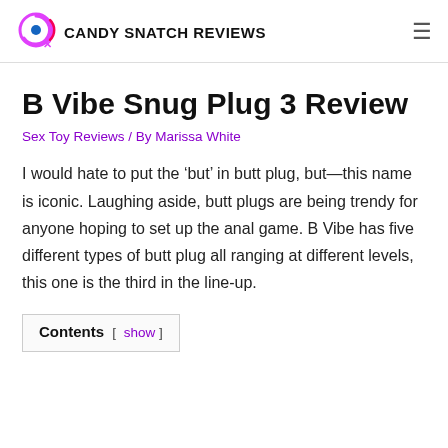CANDY SNATCH REVIEWS
B Vibe Snug Plug 3 Review
Sex Toy Reviews / By Marissa White
I would hate to put the ‘but’ in butt plug, but—this name is iconic. Laughing aside, butt plugs are being trendy for anyone hoping to set up the anal game. B Vibe has five different types of butt plug all ranging at different levels, this one is the third in the line-up.
Contents [ show ]